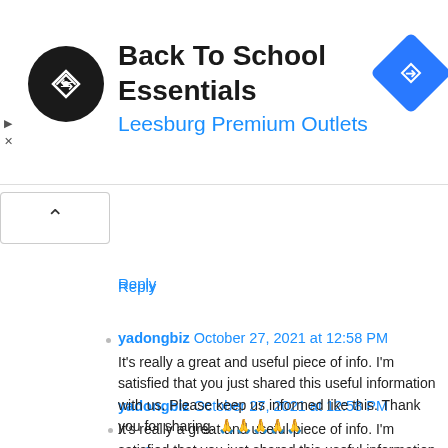[Figure (infographic): Advertisement banner: Back To School Essentials at Leesburg Premium Outlets with logo and navigation icon]
Reply
yadongbiz October 27, 2021 at 12:58 PM
It's really a great and useful piece of info. I'm satisfied that you just shared this useful information with us. Please keep us informed like this. Thank you for sharing. 🙏🙏🙏🙏🙏
Reply
yahanvideonet October 27, 2021 at 1:00 PM
Thank you for your kindness by providing valuable information to us. It really helped me to enhance my knowledge and skills 🙏🙏🙏🙏